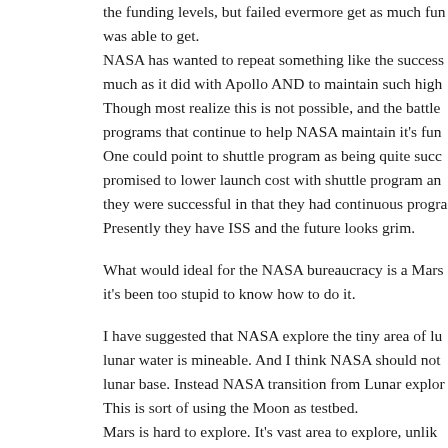the funding levels, but failed evermore get as much fun was able to get. NASA has wanted to repeat something like the success much as it did with Apollo AND to maintain such high Though most realize this is not possible, and the battle programs that continue to help NASA maintain it's fun One could point to shuttle program as being quite succ promised to lower launch cost with shuttle program an they were successful in that they had continuous progra Presently they have ISS and the future looks grim.
What would ideal for the NASA bureaucracy is a Mars it's been too stupid to know how to do it.
I have suggested that NASA explore the tiny area of lu lunar water is mineable. And I think NASA should not lunar base. Instead NASA transition from Lunar explor This is sort of using the Moon as testbed. Mars is hard to explore. It's vast area to explore, unlik